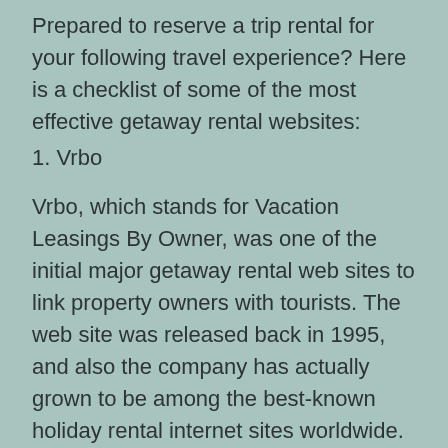Prepared to reserve a trip rental for your following travel experience? Here is a checklist of some of the most effective getaway rental websites:
1. Vrbo
Vrbo, which stands for Vacation Leasings By Owner, was one of the initial major getaway rental web sites to link property owners with tourists. The web site was released back in 1995, and also the company has actually grown to be among the best-known holiday rental internet sites worldwide.